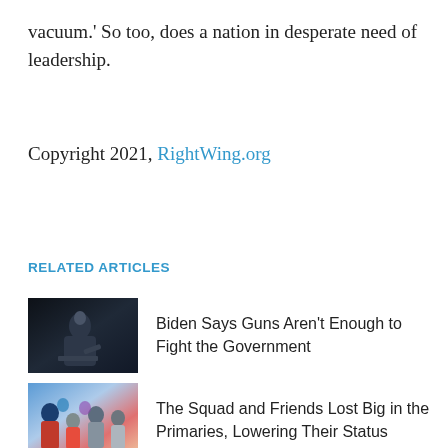vacuum.' So too, does a nation in desperate need of leadership.
Copyright 2021, RightWing.org
RELATED ARTICLES
[Figure (photo): Dark photo of a person (Biden) at a podium or debate stage]
Biden Says Guns Aren’t Enough to Fight the Government
[Figure (photo): Photo of a group of people including women and children, related to The Squad article]
The Squad and Friends Lost Big in the Primaries, Lowering Their Status